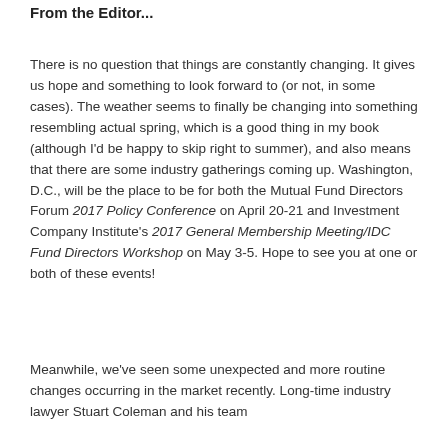From the Editor...
There is no question that things are constantly changing. It gives us hope and something to look forward to (or not, in some cases). The weather seems to finally be changing into something resembling actual spring, which is a good thing in my book (although I'd be happy to skip right to summer), and also means that there are some industry gatherings coming up. Washington, D.C., will be the place to be for both the Mutual Fund Directors Forum 2017 Policy Conference on April 20-21 and Investment Company Institute's 2017 General Membership Meeting/IDC Fund Directors Workshop on May 3-5. Hope to see you at one or both of these events!
Meanwhile, we've seen some unexpected and more routine changes occurring in the market recently. Long-time industry lawyer Stuart Coleman and his team